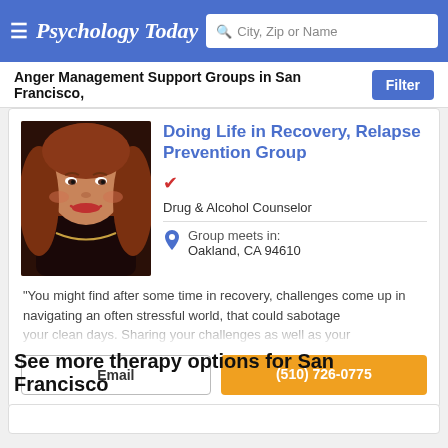Psychology Today — City, Zip or Name search
Anger Management Support Groups in San Francisco,
Doing Life in Recovery, Relapse Prevention Group
Drug & Alcohol Counselor
Group meets in: Oakland, CA 94610
"You might find after some time in recovery, challenges come up in navigating an often stressful world, that could sabotage your clean days. Sharing your challenges as well as your
Email
(510) 726-0775
See more therapy options for San Francisco